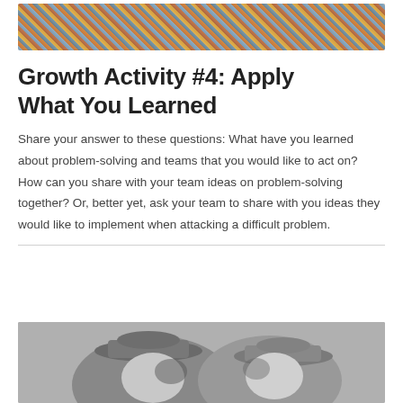[Figure (photo): Colorful jigsaw puzzle pieces scattered together, top of page]
Growth Activity #4: Apply What You Learned
Share your answer to these questions: What have you learned about problem-solving and teams that you would like to act on? How can you share with your team ideas on problem-solving together? Or, better yet, ask your team to share with you ideas they would like to implement when attacking a difficult problem.
[Figure (photo): Black and white photo of two people wearing hats, partially visible at bottom of page]